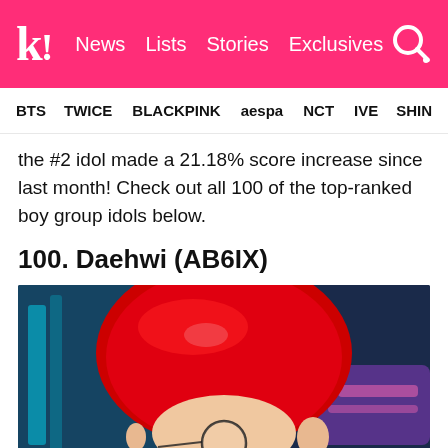k! News  Lists  Stories  Exclusives
BTS  TWICE  BLACKPINK  aespa  NCT  IVE  SHINee
the #2 idol made a 21.18% score increase since last month! Check out all 100 of the top-ranked boy group idols below.
100. Daehwi (AB6IX)
[Figure (photo): Photo of Daehwi from AB6IX with bright red bowl-cut hair, wearing round glasses, viewed from slightly above/behind, with a play button overlay at the bottom center. Background is dark blue/teal stage lighting.]